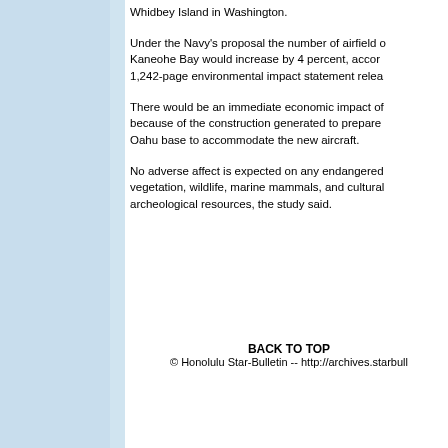Whidbey Island in Washington.
Under the Navy's proposal the number of airfield operations at Kaneohe Bay would increase by 4 percent, according to the 1,242-page environmental impact statement released.
There would be an immediate economic impact of because of the construction generated to prepare the Oahu base to accommodate the new aircraft.
No adverse affect is expected on any endangered vegetation, wildlife, marine mammals, and cultural archeological resources, the study said.
BACK TO TOP
© Honolulu Star-Bulletin -- http://archives.starbull